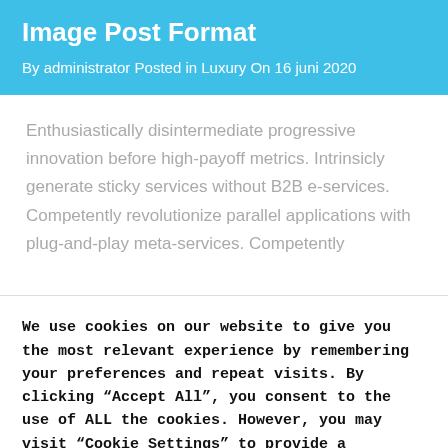Image Post Format
By administrator Posted in Luxury On 16 juni 2020
Enthusiastically disintermediate progressive innovation before high-payoff metrics. Intrinsicly generate sticky services without B2B e-services. Competently revolutionize parallel applications with plug-and-play meta-services. Competently
We use cookies on our website to give you the most relevant experience by remembering your preferences and repeat visits. By clicking “Accept All”, you consent to the use of ALL the cookies. However, you may visit “Cookie Settings” to provide a controlled consent.
Cookie Settings | Accept All